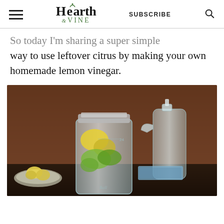Hearth & VINE | SUBSCRIBE
So today I'm sharing a super simple way to use leftover citrus by making your own homemade lemon vinegar.
[Figure (photo): A glass mason jar filled with lemon and lime peels in liquid, next to a clear spray bottle. A bowl of lemons and a blue cloth are visible in the background on a dark wooden surface.]